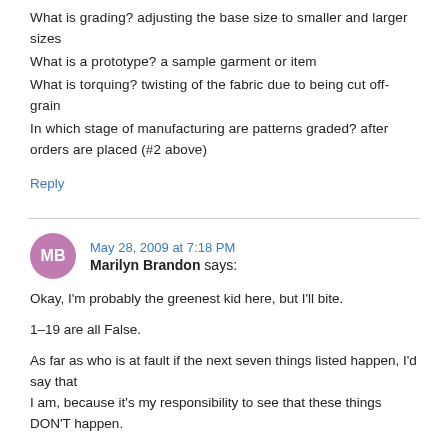What is grading? adjusting the base size to smaller and larger sizes
What is a prototype? a sample garment or item
What is torquing? twisting of the fabric due to being cut off-grain
In which stage of manufacturing are patterns graded? after orders are placed (#2 above)
Reply
May 28, 2009 at 7:18 PM
Marilyn Brandon says:
Okay, I'm probably the greenest kid here, but I'll bite.
1–19 are all False.
As far as who is at fault if the next seven things listed happen, I'd say that
I am, because it's my responsibility to see that these things DON'T happen.